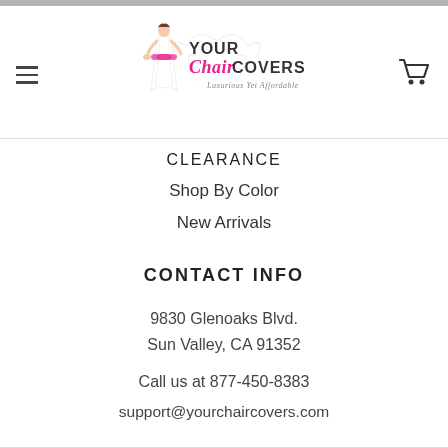[Figure (logo): Your Chair Covers logo with bride illustration, scrollwork, pink bow, text 'YOUR Chair COVERS Luxurious Yet Affordable']
CLEARANCE
Shop By Color
New Arrivals
CONTACT INFO
9830 Glenoaks Blvd.
Sun Valley, CA 91352
Call us at 877-450-8383
support@yourchaircovers.com